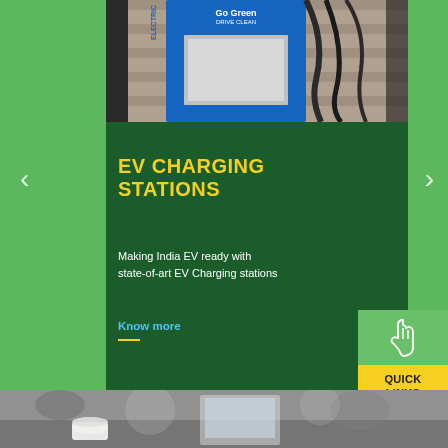[Figure (photo): Photo of a blue EV charging station with 'Go Green Drive Clean' text, mounted outdoors]
EV CHARGING STATIONS
Making India EV ready with state-of-art EV Charging stations
Know more
[Figure (photo): Photo of a workspace/office environment with people working, coffee cups, laptops visible in a blurred background]